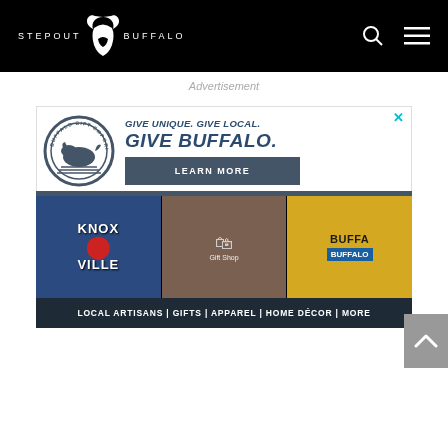STEPOUT BUFFALO
Advertisement
[Figure (infographic): Buffalo Gift Emporium advertisement with circular buffalo logo, text 'GIVE UNIQUE. GIVE LOCAL. GIVE BUFFALO.' with LEARN MORE button, photos of merchandise including Knox Ville shirt, gift shop items, and Buffalo branded cans. Footer reads: LOCAL ARTISANS | GIFTS | APPAREL | HOME DÉCOR | MORE]